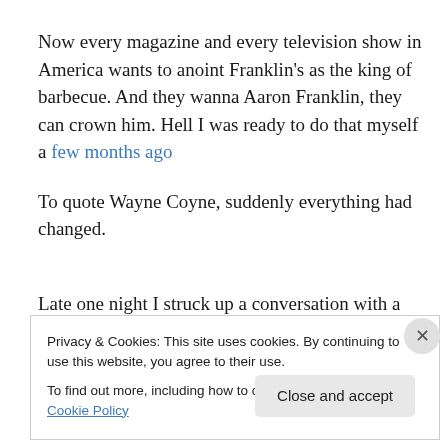Now every magazine and every television show in America wants to anoint Franklin's as the king of barbecue. And they wanna Aaron Franklin, they can crown him. Hell I was ready to do that myself a few months ago
To quote Wayne Coyne, suddenly everything had changed.
Late one night I struck up a conversation with a bus driver
Privacy & Cookies: This site uses cookies. By continuing to use this website, you agree to their use.
To find out more, including how to control cookies, see here: Cookie Policy
Close and accept